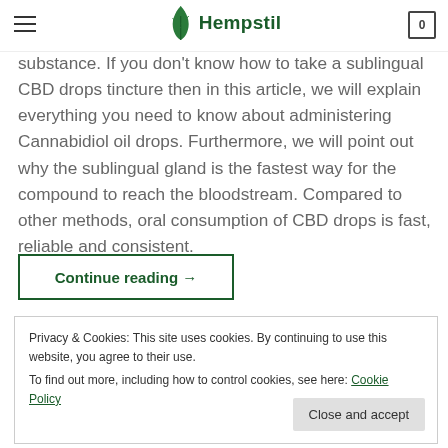Hempstil
substance. If you don't know how to take a sublingual CBD drops tincture then in this article, we will explain everything you need to know about administering Cannabidiol oil drops. Furthermore, we will point out why the sublingual gland is the fastest way for the compound to reach the bloodstream. Compared to other methods, oral consumption of CBD drops is fast, reliable and consistent.
Continue reading →
Privacy & Cookies: This site uses cookies. By continuing to use this website, you agree to their use.
To find out more, including how to control cookies, see here: Cookie Policy
Close and accept